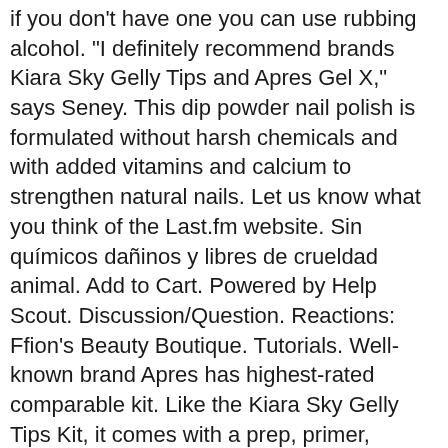if you don't have one you can use rubbing alcohol. "I definitely recommend brands Kiara Sky Gelly Tips and Apres Gel X," says Seney. This dip powder nail polish is formulated without harsh chemicals and with added vitamins and calcium to strengthen natural nails. Let us know what you think of the Last.fm website. Sin químicos dañinos y libres de crueldad animal. Add to Cart. Powered by Help Scout. Discussion/Question. Reactions: Ffion's Beauty Boutique. Tutorials. Well-known brand Apres has highest-rated comparable kit. Like the Kiara Sky Gelly Tips Kit, it comes with a prep, primer, builder gel, top coat, gel tips, and a lamp. Scrobbling is when Last.fm tracks the music you listen to and automatically adds it to your music profile. Can I customize the shape and length of my Gelly Tips. In this video I'm testing out the new Kiara Sky Gelly Tips Starter kit and Nail Drill. "If your nails are too short, there isn't anything for the extension to stick to." I've also seen people use thicker gels than the extend gels to secure the nail tips so that they last longer. by LongHairPrettyNails and see the artwork, lyrics and similar artists. The best things about it is the fact that brand is cruelty-free and cruelty-free and it also has a really...